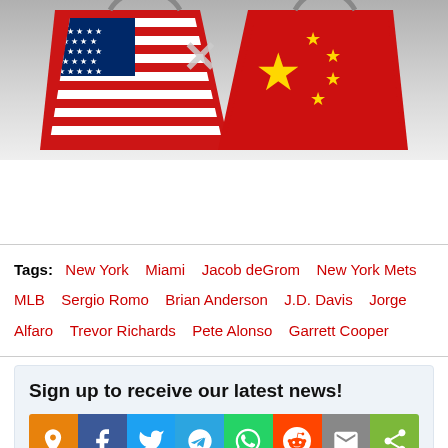[Figure (illustration): Two shopping bags facing each other — one with the US flag design and one with the Chinese flag design, on a grey gradient background, symbolizing US-China trade conflict.]
Tags: New York  Miami  Jacob deGrom  New York Mets  MLB  Sergio Romo  Brian Anderson  J.D. Davis  Jorge Alfaro  Trevor Richards  Pete Alonso  Garrett Cooper
Sign up to receive our latest news!
[Figure (infographic): Social sharing button bar with icons: orange pin/location, Facebook, Twitter, Telegram, WhatsApp, Reddit, Email, Share]